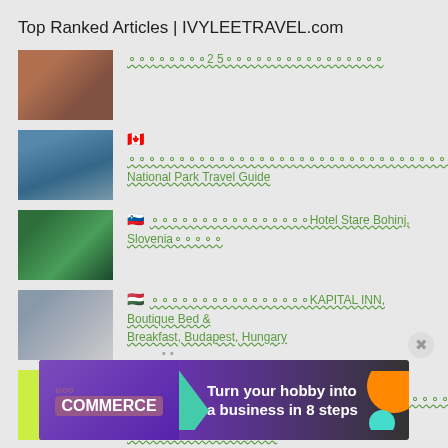Top Ranked Articles | IVYLEETRAVEL.com
🇨🇦 [squiggles] 2 50[squiggles]
🇨🇦 [squiggles] Banff National Park Travel Guide
🇸🇮 [squiggles] Hotel Stare Bohinj, Slovenia [squiggles]
🇭🇺 [squiggles] KAPITAL INN, Boutique Bed & Breakfast, Budapest, Hungary
🇺🇸 [squiggles] 12 [squiggles] 12 Best museums in New York, USA
🇵🇹 [squiggles] Portugal Travel Guide
[Figure (infographic): WooCommerce advertisement banner: 'Turn your hobby into a business in 8 steps']